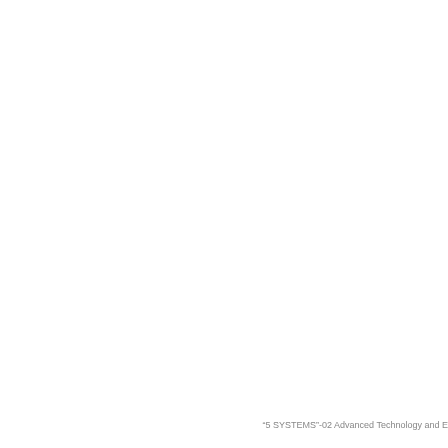"5 SYSTEMS"-02 Advanced Technology and E